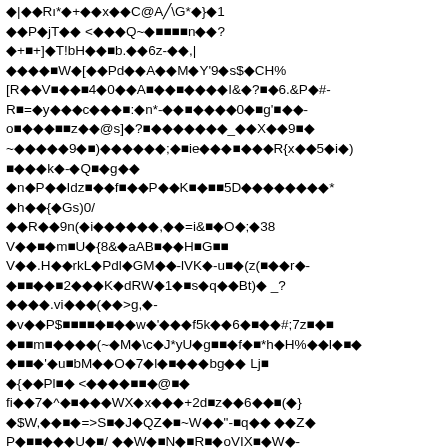Corrupted/encoded text block with diamond replacement characters mixed with ASCII symbols and alphanumeric characters across multiple lines.